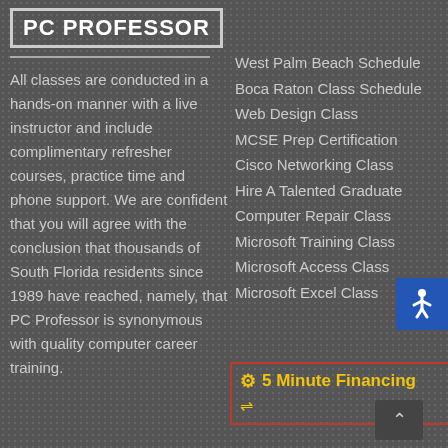PC PROFESSOR
All classes are conducted in a hands-on manner with a live instructor and include complimentary refresher courses, practice time and phone support. We are confident that you will agree with the conclusion that thousands of South Florida residents since 1989 have reached, namely, that PC Professor is synonymous with quality computer career training.
West Palm Beach Schedule
Boca Raton Class Schedule
Web Design Class
MCSE Prep Certification
Cisco Networking Class
Hire A Talented Graduate
Computer Repair Class
Microsoft Training Class
Microsoft Access Class
Microsoft Excel Class
5 Minute Financing